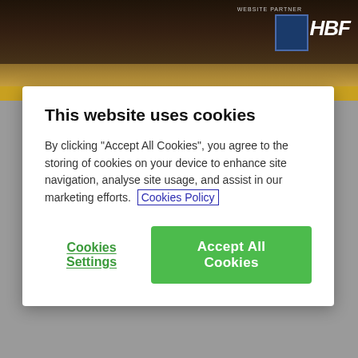[Figure (screenshot): Website screenshot showing a cookie consent dialog overlay on a sports club website (Bradford City AFC). The background shows a stadium image with HBF logo and website partner text. Below the overlay shows a date '9 November 2015', '95 views', and article text about a book launch.]
This website uses cookies
By clicking "Accept All Cookies", you agree to the storing of cookies on your device to enhance site navigation, analyse site usage, and assist in our marketing efforts. Cookies Policy
Cookies Settings
Accept All Cookies
9 November 2015
95 views
The Bantams' exciting new book - Dare to Dream - will be officially launched by Phil Parkinson and members of his squad at an event at the Coral Windows Stadium on Thursday, 12 November 2015